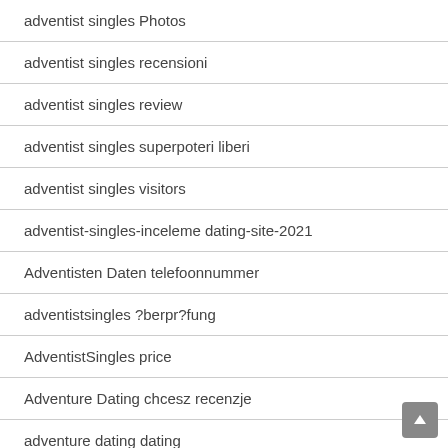adventist singles Photos
adventist singles recensioni
adventist singles review
adventist singles superpoteri liberi
adventist singles visitors
adventist-singles-inceleme dating-site-2021
Adventisten Daten telefoonnummer
adventistsingles ?berpr?fung
AdventistSingles price
Adventure Dating chcesz recenzje
adventure dating dating
adventure dating reviews
Adventure Dating visitors